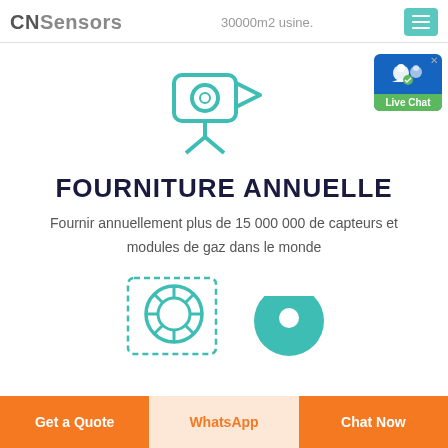CNSensors   30000m2 usine.
[Figure (illustration): Teal outline icon of a video camera on a stand]
[Figure (illustration): Live Chat badge with blue background, user icon, green Live Chat label]
FOURNITURE ANNUELLE
Fournir annuellement plus de 15 000 000 de capteurs et modules de gaz dans le monde
[Figure (illustration): Teal dashed-border life ring / support icon]
[Figure (illustration): Teal semicircle icon (partially visible at bottom right)]
Get a Quote   WhatsApp   Chat Now